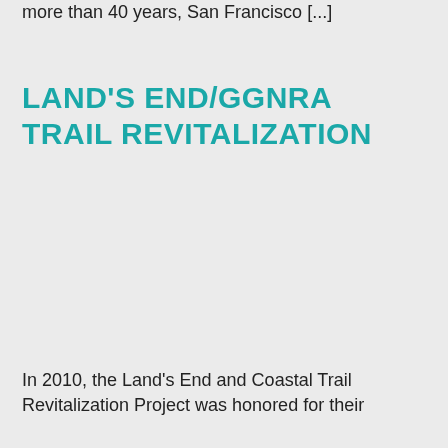more than 40 years, San Francisco [...]
LAND'S END/GGNRA TRAIL REVITALIZATION
In 2010, the Land's End and Coastal Trail Revitalization Project was honored for their